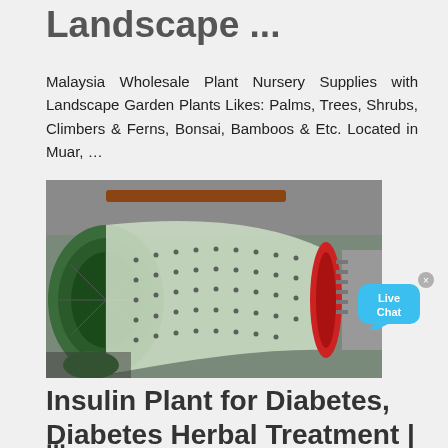Landscape ...
Malaysia Wholesale Plant Nursery Supplies with Landscape Garden Plants Likes: Palms, Trees, Shrubs, Climbers & Ferns, Bonsai, Bamboos & Etc. Located in Muar, …
[Figure (photo): Industrial ball mill drum machine in a factory setting, large cylindrical tube with green and red metal ends, covered in spikes/bolts, photographed in an industrial facility]
Insulin Plant for Diabetes, Diabetes Herbal Treatment | ...
...